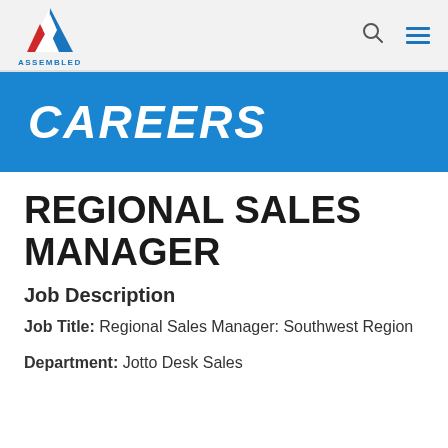ASSEMBLED (logo) with search and menu icons
CAREERS
REGIONAL SALES MANAGER
Job Description
Job Title: Regional Sales Manager: Southwest Region
Department: Jotto Desk Sales